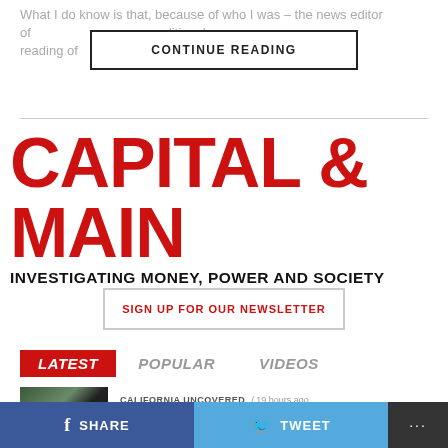What I do know is that, because of who I was – the news editor of... additional reading of...
[Figure (other): CONTINUE READING button]
[Figure (logo): Capital & Main logo – CAPITAL & MAIN / INVESTIGATING MONEY, POWER AND SOCIETY]
[Figure (other): SIGN UP FOR OUR NEWSLETTER button]
[Figure (other): Navigation tabs: LATEST (selected, red), POPULAR, VIDEOS]
CALIFORNIA UNCOVERED / 19 hours ago
[Figure (photo): Article thumbnail photo]
[Figure (other): Bottom bar: SHARE (Facebook), TWEET (Twitter), ...]